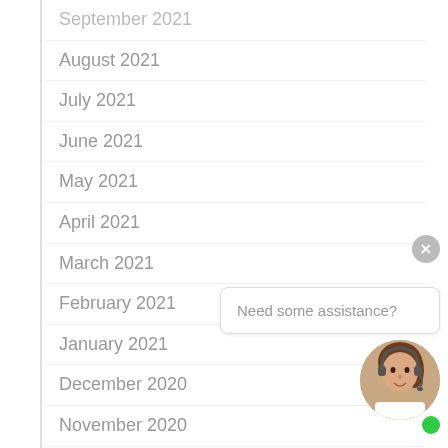September 2021
August 2021
July 2021
June 2021
May 2021
April 2021
March 2021
February 2021
January 2021
December 2020
November 2020
October 2020
September 2020
August 2020
July 2020
May 2020
[Figure (screenshot): Chat widget with close button (×), speech bubble saying 'Need some assistance?', and a customer service agent avatar photo with a green online indicator dot.]